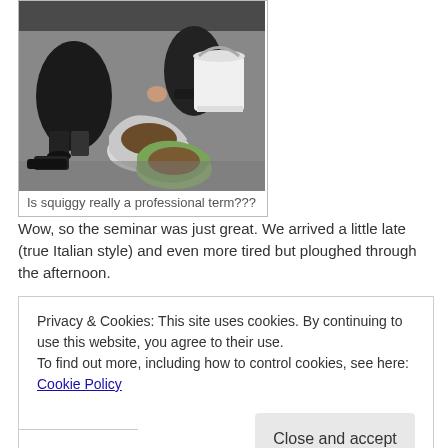[Figure (photo): People crouching on the ground examining bags of soil/compost material, with a white bucket in the background]
Is squiggy really a professional term???
Wow, so the seminar was just great. We arrived a little late (true Italian style) and even more tired but ploughed through the afternoon.
Privacy & Cookies: This site uses cookies. By continuing to use this website, you agree to their use.
To find out more, including how to control cookies, see here: Cookie Policy
Close and accept